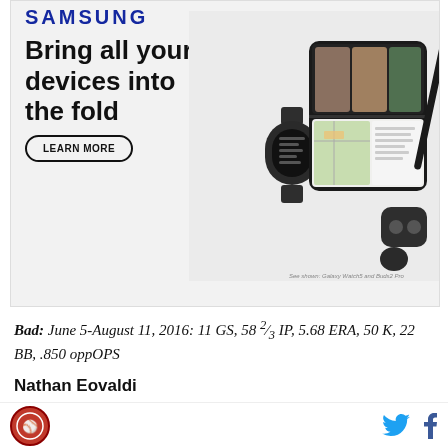[Figure (photo): Samsung advertisement showing Galaxy fold phone, smartwatch, earbuds and stylus with headline 'Bring all your devices into the fold' and a 'Learn More' button. Samsung logo at top.]
Bad: June 5-August 11, 2016: 11 GS, 58 2/3 IP, 5.68 ERA, 50 K, 22 BB, .850 oppOPS
Nathan Eovaldi
Good: June 26-September 5, 2015: 13 GS, 78 IP, 3.46
Logo and social media icons (Twitter, Facebook)